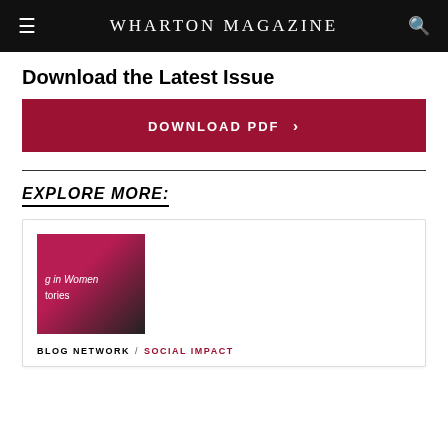WHARTON MAGAZINE
Download the Latest Issue
DOWNLOAD PDF >
EXPLORE MORE:
[Figure (photo): Thumbnail image with text 'g in Women tories' overlaid on a pink/magenta background with a person in the background]
BLOG NETWORK / SOCIAL IMPACT